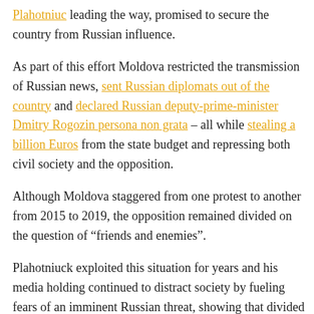Plahotniuc leading the way, promised to secure the country from Russian influence.
As part of this effort Moldova restricted the transmission of Russian news, sent Russian diplomats out of the country and declared Russian deputy-prime-minister Dmitry Rogozin persona non grata – all while stealing a billion Euros from the state budget and repressing both civil society and the opposition.
Although Moldova staggered from one protest to another from 2015 to 2019, the opposition remained divided on the question of “friends and enemies”.
Plahotniuck exploited this situation for years and his media holding continued to distract society by fueling fears of an imminent Russian threat, showing that divided societies with no common agenda have no power and no voice.